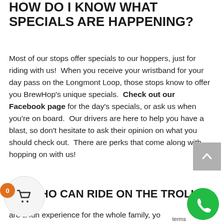HOW DO I KNOW WHAT SPECIALS ARE HAPPENING?
Most of our stops offer specials to our hoppers, just for riding with us!  When you receive your wristband for your day pass on the Longmont Loop, those stops know to offer you BrewHop’s unique specials.  Check out our Facebook page for the day’s specials, or ask us when you’re on board.  Our drivers are here to help you have a blast, so don’t hesitate to ask their opinion on what you should check out.  There are perks that come along with hopping on with us!
WHO CAN RIDE ON THE TROLLEY?
are a fun experience for the whole family, your dogs included!  Bring the kids, helping hands to ring the